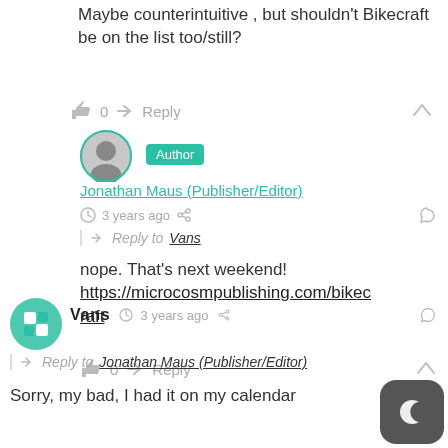Maybe counterintuitive , but shouldn't Bikecraft be on the list too/still?
👍 0  ➤ Reply  ∧
[Figure (photo): Round avatar of Jonathan Maus with glasses]
Author
Jonathan Maus (Publisher/Editor)
🕐 3 years ago  share
Reply to Vans
nope. That's next weekend! https://microcosmpublishing.com/bikecraft
👍 0  ➤ Reply  ∧
[Figure (photo): Round avatar with teal geometric pattern]
Vans  🕐 3 years ago  share
Reply to Jonathan Maus (Publisher/Editor)
Sorry, my bad, I had it on my calendar